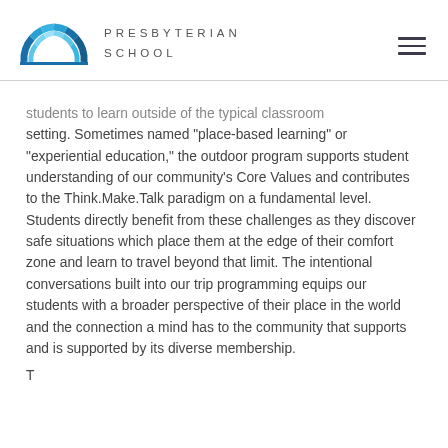PRESBYTERIAN SCHOOL
students to learn outside of the typical classroom setting. Sometimes named “place-based learning” or “experiential education,” the outdoor program supports student understanding of our community’s Core Values and contributes to the Think.Make.Talk paradigm on a fundamental level. Students directly benefit from these challenges as they discover safe situations which place them at the edge of their comfort zone and learn to travel beyond that limit. The intentional conversations built into our trip programming equips our students with a broader perspective of their place in the world and the connection a mind has to the community that supports and is supported by its diverse membership.
T...